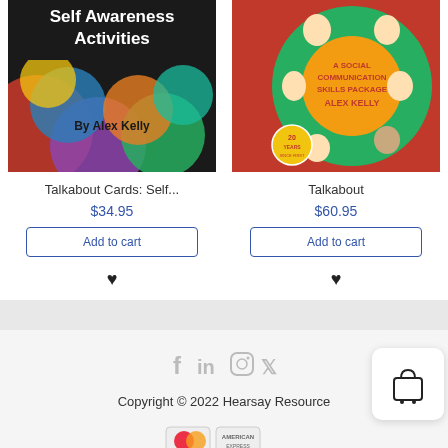[Figure (illustration): Book cover: Self Awareness Activities by Alex Kelly - colorful circles on dark background]
[Figure (illustration): Book cover: A Social Communication Skills Package by Alex Kelly - cartoon children around a wheel]
Talkabout Cards: Self...
$34.95
Add to cart
Talkabout
$60.95
Add to cart
[Figure (infographic): Social media icons: f (Facebook), in (LinkedIn), Instagram, Twitter (bird)]
Copyright © 2022 Hearsay Resource
[Figure (illustration): Payment icons: MasterCard, American Express and others partially visible]
[Figure (illustration): Shopping cart widget icon in white rounded rectangle]